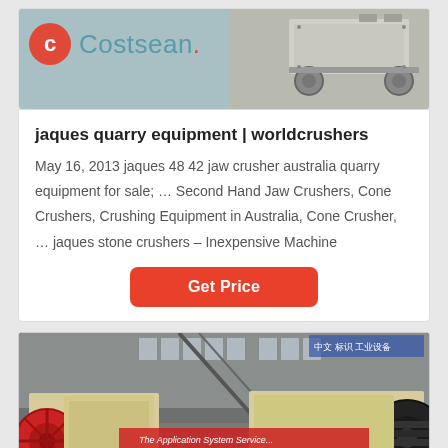[Figure (photo): Top image showing Costsean logo on grey/teal background with industrial machinery part visible on the right]
jaques quarry equipment | worldcrushers
May 16, 2013 jaques 48 42 jaw crusher australia quarry equipment for sale; … Second Hand Jaw Crushers, Cone Crushers, Crushing Equipment in Australia, Cone Crusher, … jaques stone crushers – Inexpensive Machine
[Figure (other): Get Price button — red rounded rectangle with white bold text]
[Figure (photo): Bottom photo showing large industrial jaw crusher machines in a factory/warehouse setting, with red flywheels and beige/yellow housings, banner text partially visible reading 'The Application System']